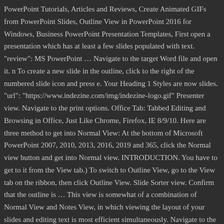PowerPoint Tutorials, Articles and Reviews, Create Animated GIFs from PowerPoint Slides, Outline View in PowerPoint 2016 for Windows, Business PowerPoint Presentation Templates, First open a presentation which has at least a few slides populated with text. "review": MS PowerPoint … Navigate to the target Word file and open it. n To create a new slide in the outline, click to the right of the numbered slide icon and press e. Your Heading 1 Styles are now slides. "url": "https://www.indezine.com/img/indezine-logo.gif" Presenter view. Navigate to the print options. Office Tab: Tabbed Editing and Browsing in Office, Just Like Chrome, Firefox, IE 8/9/10. Here are three method to get into Normal View: At the bottom of Microsoft PowerPoint 2007, 2010, 2013, 2016, 2019 and 365, click the Normal view button and get into Normal view. INTRODUCTION. You have to get to it from the View tab.) To switch to Outline View, go to the View tab on the ribbon, then click Outline View. Slide Sorter view. Confirm that the outline is … This view is somewhat of a combination of Normal View and Notes View, in which viewing the layout of your slides and editing text is most efficient simultaneously. Navigate to the Outline View. } The Outline view also makes it easy to rearrange your points,